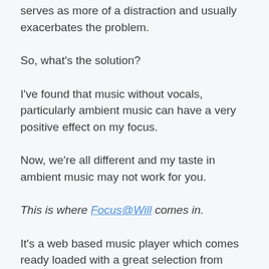serves as more of a distraction and usually exacerbates the problem.
So, what's the solution?
I've found that music without vocals, particularly ambient music can have a very positive effect on my focus.
Now, we're all different and my taste in ambient music may not work for you.
This is where Focus@Will comes in.
It's a web based music player which comes ready loaded with a great selection from different